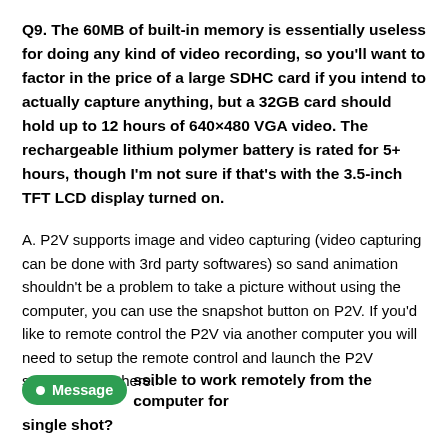Q9. The 60MB of built-in memory is essentially useless for doing any kind of video recording, so you'll want to factor in the price of a large SDHC card if you intend to actually capture anything, but a 32GB card should hold up to 12 hours of 640×480 VGA video. The rechargeable lithium polymer battery is rated for 5+ hours, though I'm not sure if that's with the 3.5-inch TFT LCD display turned on.
A. P2V supports image and video capturing (video capturing can be done with 3rd party softwares) so sand animation shouldn't be a problem to take a picture without using the computer, you can use the snapshot button on P2V. If you'd like to remote control the P2V via another computer you will need to setup the remote control and launch the P2V software from there.
Message  ssible to work remotely from the computer for single shot?